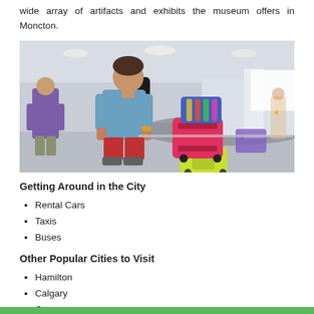wide array of artifacts and exhibits the museum offers in Moncton.
[Figure (photo): Person at airport baggage claim carousel with colorful luggage including a bright pink suitcase and yellow bag. Other travelers visible in background with airport signage showing number 7.]
Getting Around in the City
Rental Cars
Taxis
Buses
Other Popular Cities to Visit
Hamilton
Calgary
Ottawa
Montreal